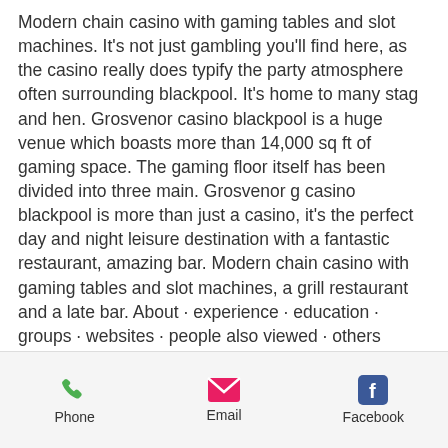Modern chain casino with gaming tables and slot machines. It's not just gambling you'll find here, as the casino really does typify the party atmosphere often surrounding blackpool. It's home to many stag and hen. Grosvenor casino blackpool is a huge venue which boasts more than 14,000 sq ft of gaming space. The gaming floor itself has been divided into three main. Grosvenor g casino blackpool is more than just a casino, it's the perfect day and night leisure destination with a fantastic restaurant, amazing bar. Modern chain casino with gaming tables and slot machines, a grill restaurant and a late bar. About · experience · education · groups · websites · people also viewed · others named jill tomlinson. Home / united kingdom casinos / england casinos / blackpool casinos / grosvenor casino
Phone | Email | Facebook